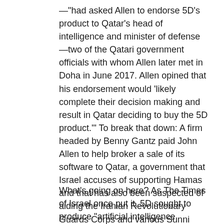—“had asked Allen to endorse 5D’s product to Qatar’s head of intelligence and minister of defense—two of the Qatari government officials with whom Allen later met in Doha in June 2017. Allen opined that his endorsement would ‘likely complete their decision making and result in Qatar deciding to buy the 5D product.’” To break that down: A firm headed by Benny Gantz paid John Allen to help broker a sale of its software to Qatar, a government that Israel accuses of supporting Hamas and that has also been suspected of aiding the Iranian Revolutionary Guards Corps and various Sunni jihadist groups. The FBI document notes that the agency “has not determined whether the Government of Qatar agreed to the 5D proposal.” The deal would have been worth some $70 million, netting Allen a $1 million commission.
What’s going on here? As The Times of Israel once put it, 5D sought to produce “artificial intelligence solutions for law enforcement